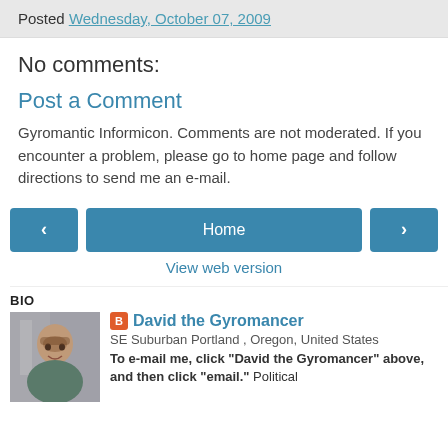Posted Wednesday, October 07, 2009
No comments:
Post a Comment
Gyromantic Informicon. Comments are not moderated. If you encounter a problem, please go to home page and follow directions to send me an e-mail.
Home
View web version
BIO
David the Gyromancer
SE Suburban Portland , Oregon, United States
To e-mail me, click "David the Gyromancer" above, and then click "email." Political